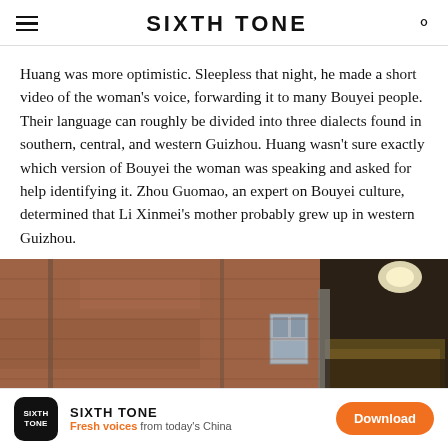SIXTH TONE
Huang was more optimistic. Sleepless that night, he made a short video of the woman’s voice, forwarding it to many Bouyei people. Their language can roughly be divided into three dialects found in southern, central, and western Guizhou. Huang wasn’t sure exactly which version of Bouyei the woman was speaking and asked for help identifying it. Zhou Guomao, an expert on Bouyei culture, determined that Li Xinmei’s mother probably grew up in western Guizhou.
[Figure (photo): Exterior brick wall of a rural building with an electrical panel mounted on it, and a dark interior doorway visible to the right with light coming through.]
SIXTH TONE — Fresh voices from today’s China — Download